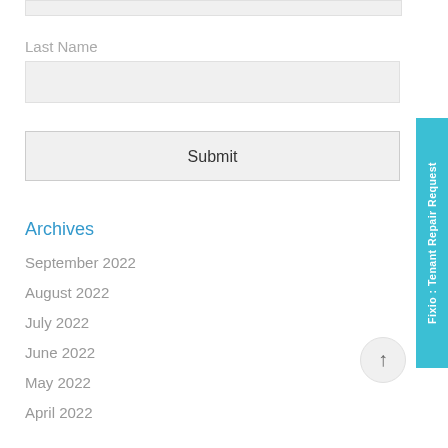Last Name
Submit
Archives
September 2022
August 2022
July 2022
June 2022
May 2022
April 2022
Fixio : Tenant Repair Request